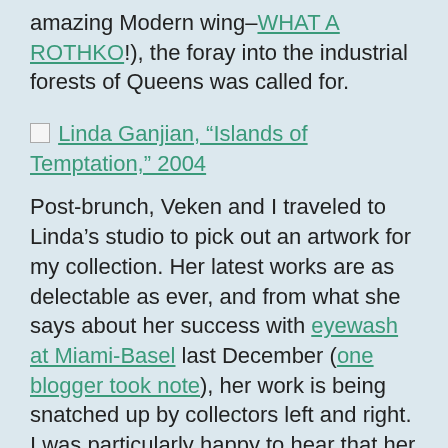amazing Modern wing–WHAT A ROTHKO!), the foray into the industrial forests of Queens was called for.
[Figure (other): Thumbnail image placeholder for Linda Ganjian artwork link]
Linda Ganjian, “Islands of Temptation,” 2004
Post-brunch, Veken and I traveled to Linda’s studio to pick out an artwork for my collection. Her latest works are as delectable as ever, and from what she says about her success with eyewash at Miami-Basel last December (one blogger took note), her work is being snatched up by collectors left and right. I was particularly happy to hear that her stunning and large L.I.C. (Lovely Infrastructure Capriccio) (2006) was bought by a Texan collector for tidy sum and a series of drawings were snagged by buyers from